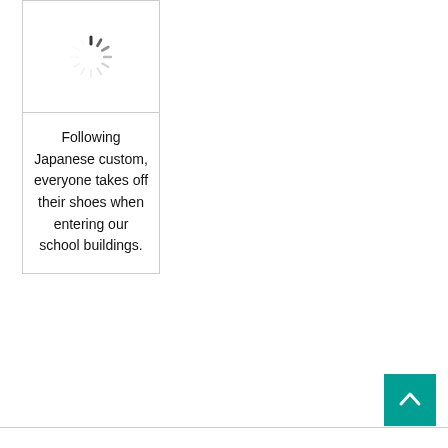[Figure (other): Loading spinner icon (circular spinner animation placeholder)]
Following Japanese custom, everyone takes off their shoes when entering our school buildings.
[Figure (other): Back to top button: teal square with upward chevron arrow]